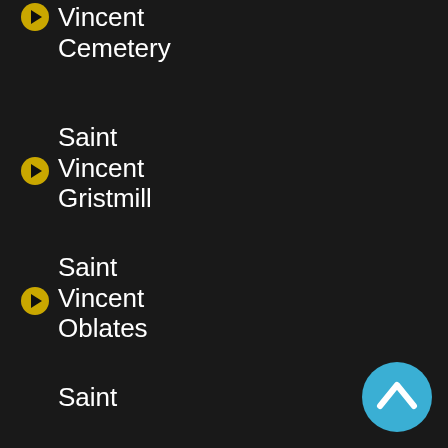Vincent Cemetery
Saint Vincent Gristmill
Saint Vincent Oblates
Saint Vincent Basilica Parish
Saint Vincent College
Saint Vincent Missions